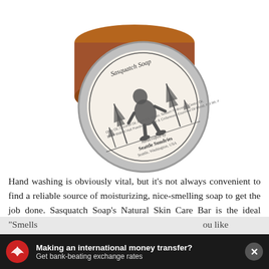[Figure (photo): A tin of Sasquatch Soap Natural Skin Care Bar, open lid showing brown soap bar, with a label depicting a bigfoot/sasquatch figure among pine trees, text reading 'Sasquatch Soap', 'handcrafted by Seattle Sundries, Seattle, Washington, USA']
Hand washing is obviously vital, but it's not always convenient to find a reliable source of moisturizing, nice-smelling soap to get the job done. Sasquatch Soap's Natural Skin Care Bar is the ideal travel mate that comes packaged in a tin for easy portability, and reviewers rave about the woody scent.
"Smells ... ou like
[Figure (screenshot): Advertisement banner with dark background, red circular icon with eagle logo, text reading 'Making an international money transfer? Get bank-beating exchange rates', and an X close button]